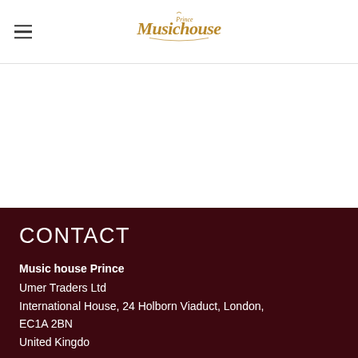Music house Prince logo and navigation
CONTACT
Music house Prince
Umer Traders Ltd
International House, 24 Holborn Viaduct, London, EC1A 2BN
United Kingdom